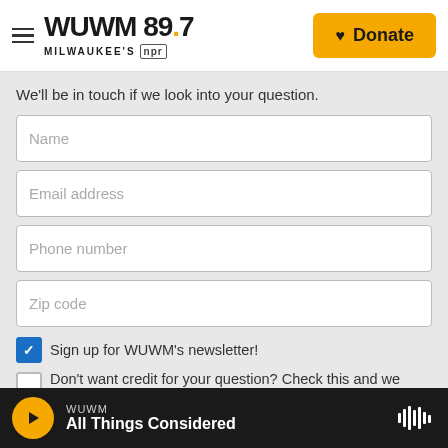[Figure (logo): WUWM 89.7 Milwaukee's NPR logo with hamburger menu icon]
[Figure (other): Donate button with heart icon, gold background]
We'll be in touch if we look into your question.
Name
Email address
Phone number
Zip code
Sign up for WUWM's newsletter!
Don't want credit for your question? Check this and we won't publish your name.
I am over 16 years old
WUWM
All Things Considered